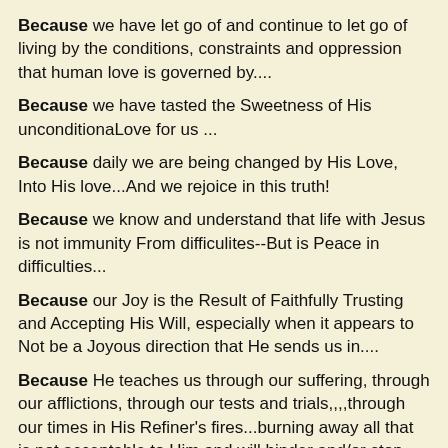Because we have let go of and continue to let go of living by the conditions, constraints and oppression that human love is governed by....
Because we have tasted the Sweetness of His unconditionaLove for us ...
Because daily we are being changed by His Love, Into His love...And we rejoice in this truth!
Because we know and understand that life with Jesus is not immunity From difficulites--But is Peace in difficulties...
Because our Joy is the Result of Faithfully Trusting and Accepting His Will, especially when it appears to Not be a Joyous direction that He sends us in....
Because He teaches us through our suffering, through our afflictions, through our tests and trials,,,,through our times in His Refiner's fires...burning away all that is not acceptable to Him and will hinder and/or stop His purposes for our lives..